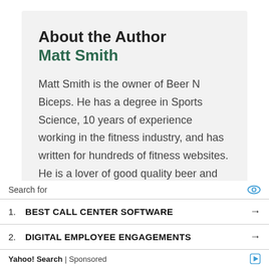About the Author Matt Smith
Matt Smith is the owner of Beer N Biceps. He has a degree in Sports Science, 10 years of experience working in the fitness industry, and has written for hundreds of fitness websites. He is a lover of good quality beer and believes that
Search for
1. BEST CALL CENTER SOFTWARE
2. DIGITAL EMPLOYEE ENGAGEMENTS
Yahoo! Search | Sponsored